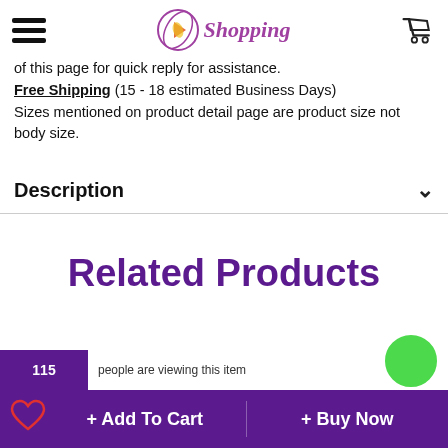Shopping (logo and navigation)
of this page for quick reply for assistance.
Free Shipping (15 - 18 estimated Business Days)
Sizes mentioned on product detail page are product size not body size.
Description
Related Products
115 people are viewing this item
+ Add To Cart   + Buy Now